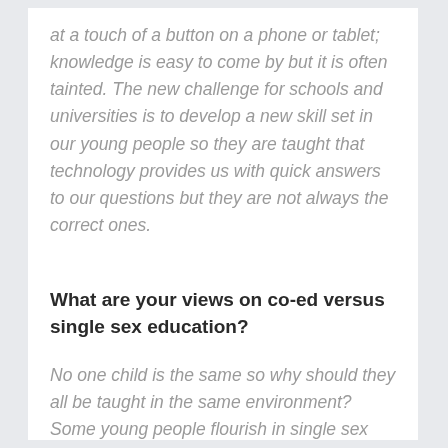at a touch of a button on a phone or tablet; knowledge is easy to come by but it is often tainted. The new challenge for schools and universities is to develop a new skill set in our young people so they are taught that technology provides us with quick answers to our questions but they are not always the correct ones.
What are your views on co-ed versus single sex education?
No one child is the same so why should they all be taught in the same environment? Some young people flourish in single sex environments, others in co-ed. My daughters